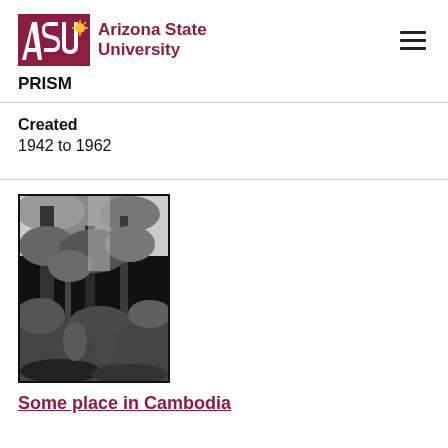ASU Arizona State University  PRISM
Created
1942 to 1962
[Figure (photo): Black and white photograph showing tall trees with dense foliage, appearing to be a jungle or forested scene, possibly in Cambodia.]
Some place in Cambodia